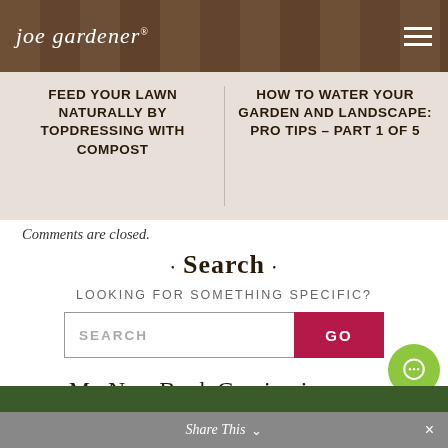joe gardener®
FEED YOUR LAWN NATURALLY BY TOPDRESSING WITH COMPOST
HOW TO WATER YOUR GARDEN AND LANDSCAPE: PRO TIPS – PART 1 OF 5
Comments are closed.
• Search •
LOOKING FOR SOMETHING SPECIFIC?
SEARCH   GO
My New Book Coming in September! Preorder Today